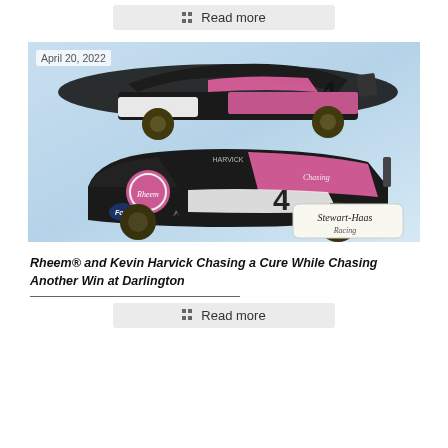Read more
[Figure (photo): NASCAR race car number 4 with pink and black Rheem livery, shown from two angles (rear-quarter top and front-quarter bottom). Stewart-Haas Racing logo visible in lower right corner. Date overlay reads April 20, 2022.]
April 20, 2022
Rheem® and Kevin Harvick Chasing a Cure While Chasing Another Win at Darlington
Read more